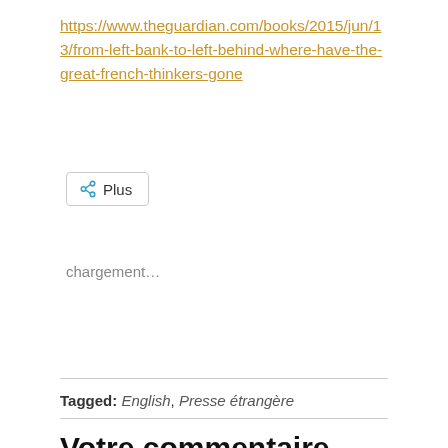https://www.theguardian.com/books/2015/jun/13/from-left-bank-to-left-behind-where-have-the-great-french-thinkers-gone
[Figure (other): A share button with a share icon and the label 'Plus']
chargement...
Tagged: English, Presse étrangère
Votre commentaire